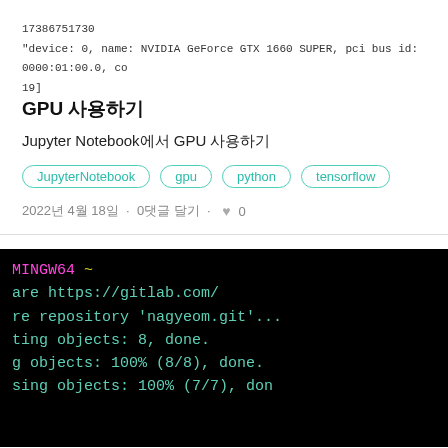17386751730
"device: 0, name: NVIDIA GeForce GTX 1660 SUPER, pci bus id: 0000:01:00.0, co
19]
GPU 사용하기
Jupyter Notebook에서 GPU 사용하기
JupyterNotebook
gpu
python
tensorflow
2022년 4월 18일  ·  0댓글 달기  ·  ♥ 0
[Figure (screenshot): Terminal screenshot showing MINGW64 shell with git clone output: 'are https://gitlab.com/', 're repository \'nagyeom.git\'...', 'ting objects: 8, done.', 'g objects: 100% (8/8), done.', 'sing objects: 100% (7/7), done']